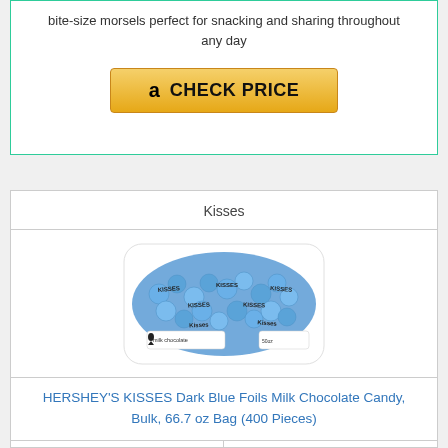bite-size morsels perfect for snacking and sharing throughout any day
CHECK PRICE
Kisses
[Figure (photo): A bag of HERSHEY'S KISSES with dark blue foil wrappings, bulk bag of milk chocolate candies]
HERSHEY'S KISSES Dark Blue Foils Milk Chocolate Candy, Bulk, 66.7 oz Bag (400 Pieces)
| Score | - |
| --- | --- |